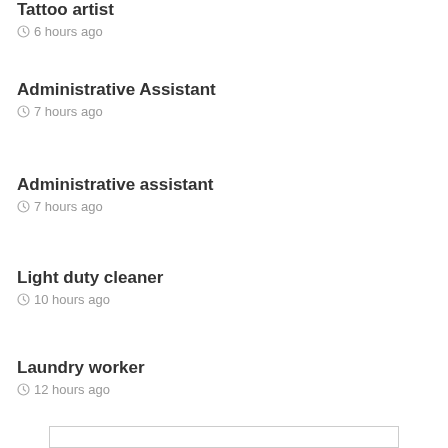Tattoo artist
6 hours ago
Administrative Assistant
7 hours ago
Administrative assistant
7 hours ago
Light duty cleaner
10 hours ago
Laundry worker
12 hours ago